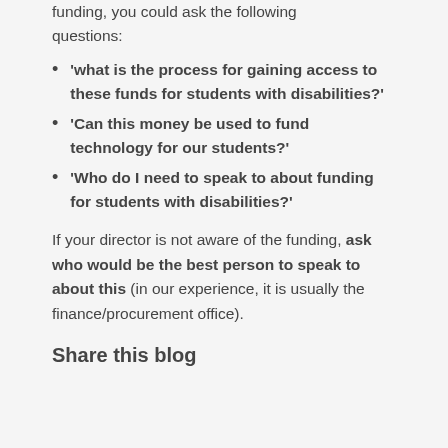funding, you could ask the following questions:
'what is the process for gaining access to these funds for students with disabilities?'
'Can this money be used to fund technology for our students?'
'Who do I need to speak to about funding for students with disabilities?'
If your director is not aware of the funding, ask who would be the best person to speak to about this (in our experience, it is usually the finance/procurement office).
Share this blog